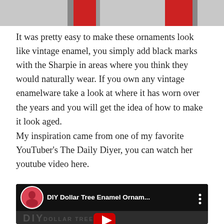[Figure (photo): Top portion of a craft photo showing red ribbon/ornament decorations against a light gray background]
It was pretty easy to make these ornaments look like vintage enamel, you simply add black marks with the Sharpie in areas where you think they would naturally wear. If you own any vintage enamelware take a look at where it has worn over the years and you will get the idea of how to make it look aged.
My inspiration came from one of my favorite YouTuber's The Daily Diyer, you can watch her youtube video here.
[Figure (screenshot): YouTube video thumbnail for 'DIY Dollar Tree Enamel Ornam...' showing the YouTuber avatar, video title bar, and video content with DIY Dollar Tree Farmhouse text overlay and YouTube play button]